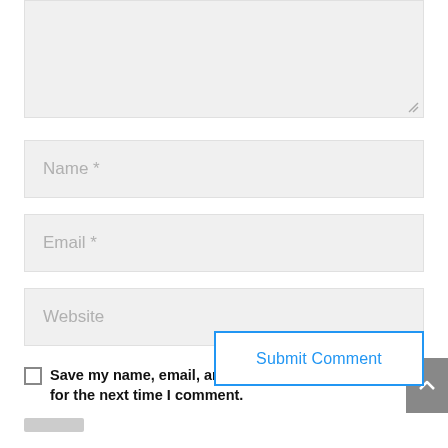[Figure (screenshot): Comment form textarea (top, partially visible, grey background with resize handle)]
Name *
Email *
Website
Save my name, email, and website in this browser for the next time I comment.
Submit Comment